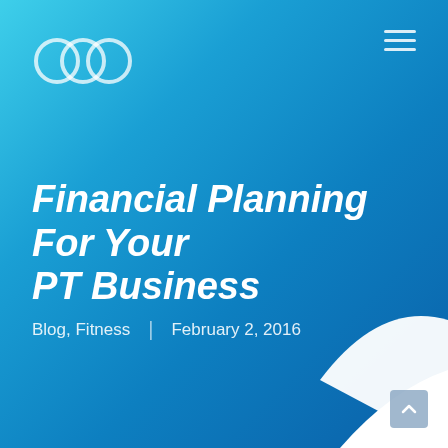[Figure (logo): Infinity loop / two overlapping rounded rectangles logo outline in light blue/white on blue background]
Financial Planning For Your PT Business
Blog, Fitness | February 2, 2016